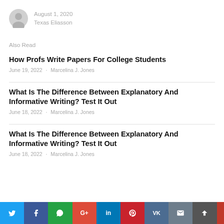August 1, 2020
Texas Eliasson
Also Read
How Profs Write Papers For College Students
June 19, 2022 · Marcelina J. Jones
What Is The Difference Between Explanatory And Informative Writing? Test It Out
June 18, 2022 · Marcelina J. Jones
What Is The Difference Between Explanatory And Informative Writing? Test It Out
June 18, 2022 · Marcelina J. Jones